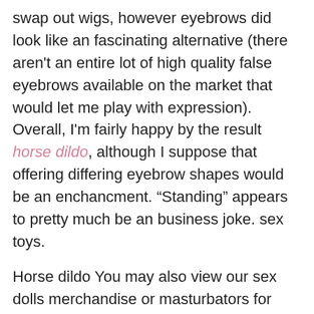swap out wigs, however eyebrows did look like an fascinating alternative (there aren't an entire lot of high quality false eyebrows available on the market that would let me play with expression). Overall, I'm fairly happy by the result horse dildo, although I suppose that offering differing eyebrow shapes would be an enchancment. “Standing” appears to pretty much be an business joke. sex toys.
Horse dildo You may also view our sex dolls merchandise or masturbators for men. Sex robots are fairly new to our world and for now, they are expensive. However, I nonetheless thought they had been worth mentioning. Adult Toys.
G spot vibrator To comprehensively map the state of analysis on intercourse dolls and